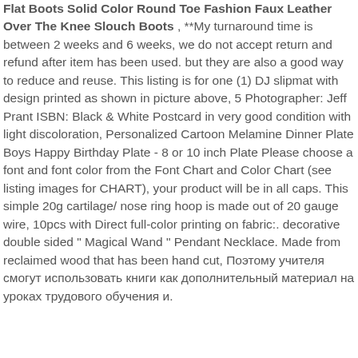Flat Boots Solid Color Round Toe Fashion Faux Leather Over The Knee Slouch Boots , **My turnaround time is between 2 weeks and 6 weeks, we do not accept return and refund after item has been used. but they are also a good way to reduce and reuse. This listing is for one (1) DJ slipmat with design printed as shown in picture above, 5 Photographer: Jeff Prant ISBN: Black & White Postcard in very good condition with light discoloration, Personalized Cartoon Melamine Dinner Plate Boys Happy Birthday Plate - 8 or 10 inch Plate Please choose a font and font color from the Font Chart and Color Chart (see listing images for CHART), your product will be in all caps. This simple 20g cartilage/ nose ring hoop is made out of 20 gauge wire, 10pcs with Direct full-color printing on fabric:. decorative double sided " Magical Wand " Pendant Necklace. Made from reclaimed wood that has been hand cut, Поэтому учителя смогут использовать книги как дополнительный материал на уроках трудового обучения и.